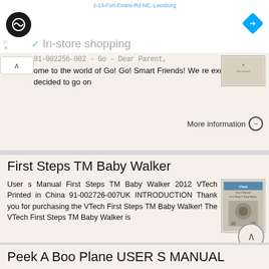In-store shopping
ome to the world of Go! Go! Smart Friends! We re excited you ve decided to go on
More information
First Steps TM Baby Walker
User s Manual First Steps TM Baby Walker 2012 VTech Printed in China 91-002726-007UK INTRODUCTION Thank you for purchasing the VTech First Steps TM Baby Walker! The VTech First Steps TM Baby Walker is
More information
Peek A Boo Plane USER S MANUAL